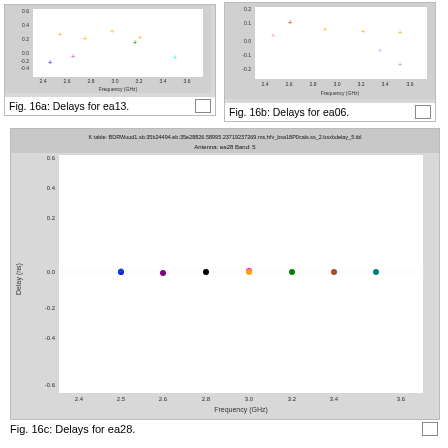[Figure (scatter-plot): Scatter plot showing delays vs frequency for antenna ea13, Band 5. Points scattered around zero delay across frequency range ~2.4-3.6 GHz.]
Fig. 16a: Delays for ea13.
[Figure (scatter-plot): Scatter plot showing delays vs frequency for antenna ea06, Band 5. Points scattered around zero delay across frequency range ~2.4-3.6 GHz.]
Fig. 16b: Delays for ea06.
[Figure (scatter-plot): Scatter plot showing delays vs frequency for antenna ea28, Band 5. All points tightly clustered at 0 delay. Multiple colored data points at each frequency position.]
Fig. 16c: Delays for ea28.